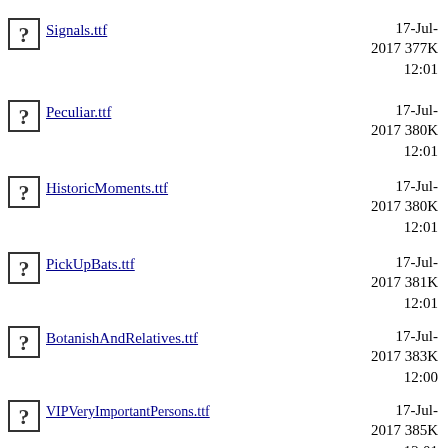12:00 (partial, top)
Signals.ttf  17-Jul-2017 377K 12:01
Peculiar.ttf  17-Jul-2017 380K 12:01
HistoricMoments.ttf  17-Jul-2017 380K 12:01
PickUpBats.ttf  17-Jul-2017 381K 12:01
BotanishAndRelatives.ttf  17-Jul-2017 383K 12:00
VIPVeryImportantPersons.ttf  17-Jul-2017 385K 12:01
MaritimK.ttf  17-Jul-2017 387K 12:01
MKSkulls.ttf  17-Jul-2017 388K (partial)